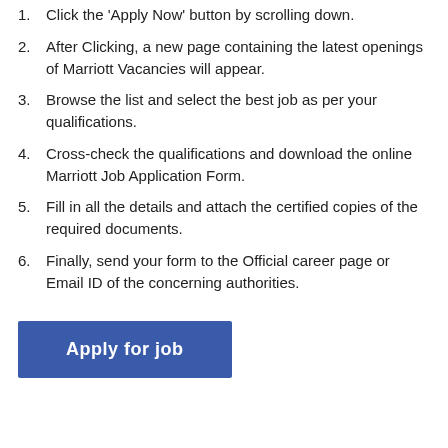1. Click the 'Apply Now' button by scrolling down.
2. After Clicking, a new page containing the latest openings of Marriott Vacancies will appear.
3. Browse the list and select the best job as per your qualifications.
4. Cross-check the qualifications and download the online Marriott Job Application Form.
5. Fill in all the details and attach the certified copies of the required documents.
6. Finally, send your form to the Official career page or Email ID of the concerning authorities.
[Figure (other): Blue 'Apply for job' button]